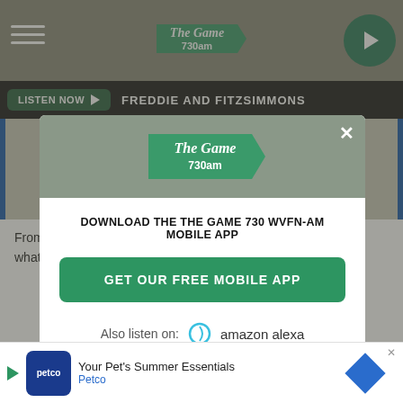[Figure (screenshot): Top navigation bar of The Game 730am radio website with hamburger menu, logo, and play button]
LISTEN NOW ▶  FREDDIE AND FITZSIMMONS
[Figure (screenshot): Modal popup for The Game 730am mobile app download with logo, close button, download prompt, green GET OUR FREE MOBILE APP button, and Also listen on: amazon alexa section]
DOWNLOAD THE THE GAME 730 WVFN-AM MOBILE APP
GET OUR FREE MOBILE APP
Also listen on:  amazon alexa
From product innovations to major recalls, Stacker researched what happened in food history every year since 1921, a
[Figure (screenshot): Petco advertisement banner: Your Pet's Summer Essentials]